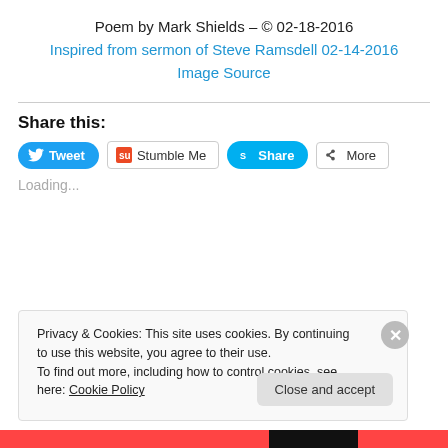Poem by Mark Shields – © 02-18-2016
Inspired from sermon of Steve Ramsdell 02-14-2016
Image Source
Share this:
[Figure (screenshot): Social sharing buttons: Tweet, Stumble Me, Share, More]
Loading...
Privacy & Cookies: This site uses cookies. By continuing to use this website, you agree to their use.
To find out more, including how to control cookies, see here: Cookie Policy
Close and accept